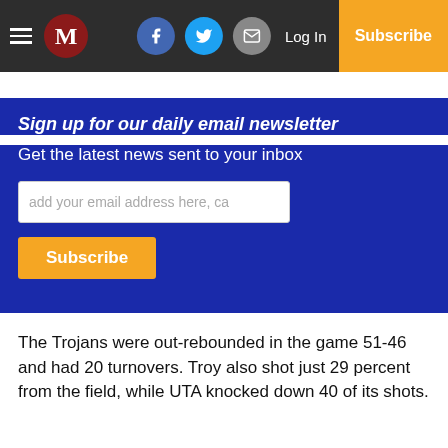M | Log In | Subscribe
Sign up for our daily email newsletter
Get the latest news sent to your inbox
add your email address here, ca
Subscribe
The Trojans were out-rebounded in the game 51-46 and had 20 turnovers. Troy also shot just 29 percent from the field, while UTA knocked down 40 of its shots.